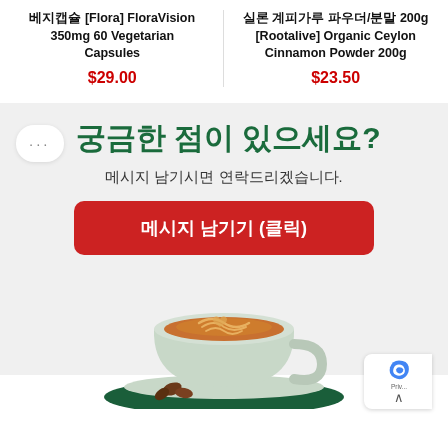베지캡슐 [Flora] FloraVision 350mg 60 Vegetarian Capsules
$29.00
실론 계피가루 파우더/분말 200g [Rootalive] Organic Ceylon Cinnamon Powder 200g
$23.50
궁금한 점이 있으세요?
메시지 남기시면 연락드리겠습니다.
메시지 남기기 (클릭)
[Figure (photo): A latte art coffee cup on a dark green plate with coffee beans, photographed from above at a slight angle.]